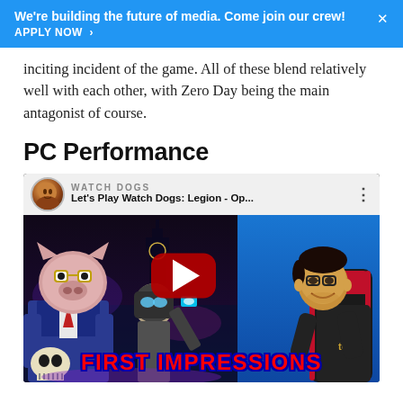We're building the future of media. Come join our crew! APPLY NOW >
inciting incident of the game. All of these blend relatively well with each other, with Zero Day being the main antagonist of course.
PC Performance
[Figure (screenshot): YouTube video thumbnail/embed for 'Let's Play Watch Dogs: Legion - Op...' with a person sitting in a gaming chair on the right, Watch Dogs Legion game art on the left showing stylized characters, a red YouTube play button in the center, and 'FIRST IMPRESSIONS' text at the bottom in red with blue outline.]